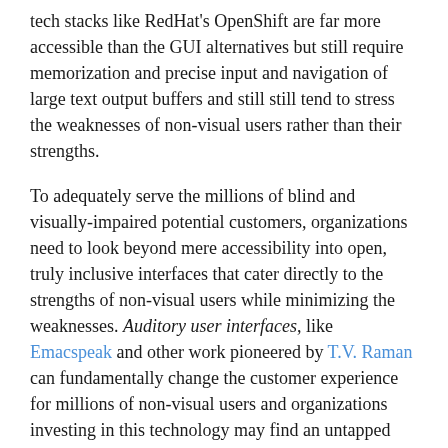tech stacks like RedHat's OpenShift are far more accessible than the GUI alternatives but still require memorization and precise input and navigation of large text output buffers and still still tend to stress the weaknesses of non-visual users rather than their strengths.
To adequately serve the millions of blind and visually-impaired potential customers, organizations need to look beyond mere accessibility into open, truly inclusive interfaces that cater directly to the strengths of non-visual users while minimizing the weaknesses. Auditory user interfaces, like Emacspeak and other work pioneered by T.V. Raman can fundamentally change the customer experience for millions of non-visual users and organizations investing in this technology may find an untapped market for their products and services and a new source of brand and customer loyalty especially among non-visual technology workers.